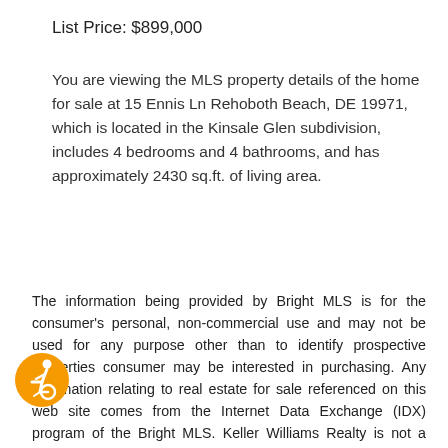List Price: $899,000
You are viewing the MLS property details of the home for sale at 15 Ennis Ln Rehoboth Beach, DE 19971, which is located in the Kinsale Glen subdivision, includes 4 bedrooms and 4 bathrooms, and has approximately 2430 sq.ft. of living area.
The information being provided by Bright MLS is for the consumer's personal, non-commercial use and may not be used for any purpose other than to identify prospective properties consumer may be interested in purchasing. Any information relating to real estate for sale referenced on this web site comes from the Internet Data Exchange (IDX) program of the Bright MLS. Keller Williams Realty is not a Multiple Listing Service (MLS), nor does it offer MLS access. This website is a service of Keller Williams Realty, a broker participant of Bright MLS. This web site may reference real estate listing(s) held by a brokerage firm other than the broker and/or agent who owns this web site.
[Figure (logo): Accessibility icon: orange circle with wheelchair user symbol in white]